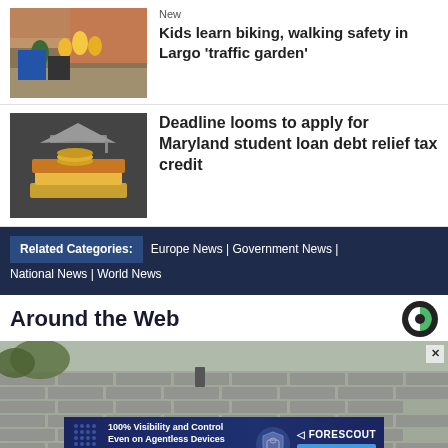[Figure (photo): Outdoor scene with people, possibly kids at an event with colorful items]
New
Kids learn biking, walking safety in Largo 'traffic garden'
[Figure (photo): Graduation cap on stack of books and coins]
Deadline looms to apply for Maryland student loan debt relief tax credit
Related Categories: Europe News | Government News | National News | World News
Around the Web
[Figure (photo): Aerial view of rooftop shingles]
100% Visibility and Control Even on Agentless Devices Our Zero Trust platform lets you see and secure every device on your network. FORESCOUT LEARN MORE